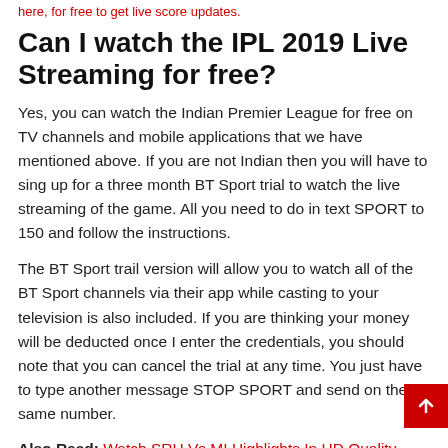here, for free to get live score updates.
Can I watch the IPL 2019 Live Streaming for free?
Yes, you can watch the Indian Premier League for free on TV channels and mobile applications that we have mentioned above. If you are not Indian then you will have to sing up for a three month BT Sport trial to watch the live streaming of the game. All you need to do in text SPORT to 150 and follow the instructions.
The BT Sport trail version will allow you to watch all of the BT Sport channels via their app while casting to your television is also included. If you are thinking your money will be deducted once I enter the credentials, you should note that you can cancel the trial at any time. You just have to type another message STOP SPORT and send on the same number.
Also Read: Watch SRH Vs MI Highlights In HD Quality